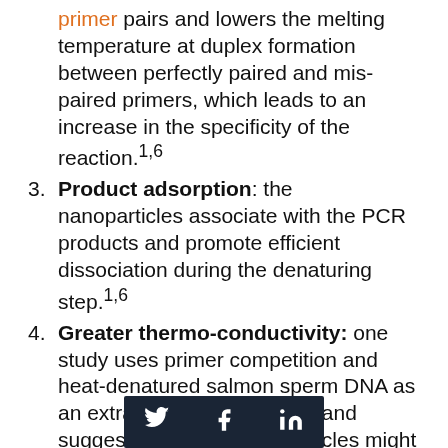primer pairs and lowers the melting temperature at duplex formation between perfectly paired and mis-paired primers, which leads to an increase in the specificity of the reaction.1,6
3. Product adsorption: the nanoparticles associate with the PCR products and promote efficient dissociation during the denaturing step.1,6
4. Greater thermo-conductivity: one study uses primer competition and heat-denatured salmon sperm DNA as an extra competition source and suggests that gold nanoparticles might increase PCR efficiency through its superior thermo